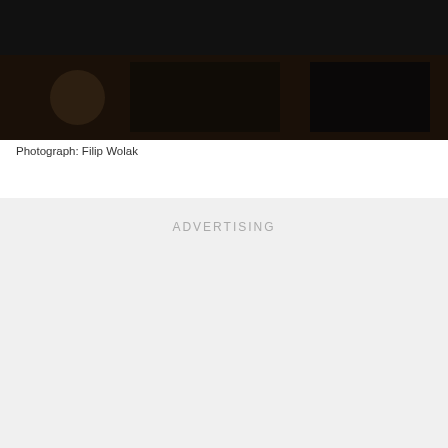[Figure (photo): Dark photograph strip showing dimly lit interior scene, credited to Filip Wolak]
Photograph: Filip Wolak
ADVERTISING